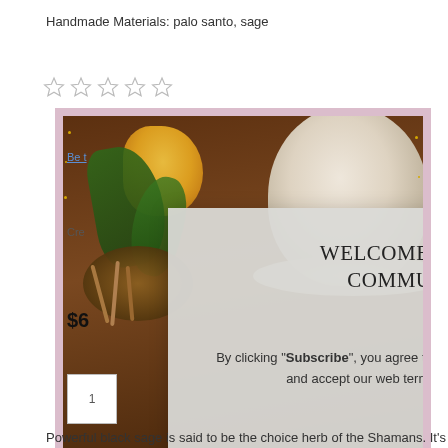Handmade Materials: palo santo, sage
[Figure (screenshot): Product page screenshot showing star rating row (5 empty stars), partial text 'Be t...' (link), 'Cre...' text, price '$6...', quantity box, 'Plea...' text, plus button. Overlaid with a photo showing coffee cups, a yellow rose, and palo santo sticks on a wooden table, framed with a pink/lavender marble border with gold confetti. A modal popup overlay reads 'WELCOME TO THE COMMUNITY' with subscribe form.]
Powerful black sage is said to be the choice herb of the Shamans. It's